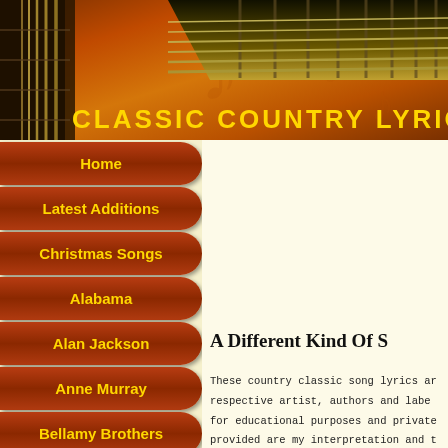[Figure (illustration): Classic Country Lyrics website header banner with guitar, strings, music notes, and orange-brown gradient background]
CLASSIC COUNTRY LYRICS
Home
Latest Additions
Christmas Songs
Alabama
Alan Jackson
Anne Murray
Bellamy Brothers
Bill Anderson
Billy Walker
Bob Wills
Bobby Bare
Boxcar Willie
A Different Kind Of S
These country classic song lyrics ar respective artist, authors and labe for educational purposes and private provided are my interpretation and t guaranteed.